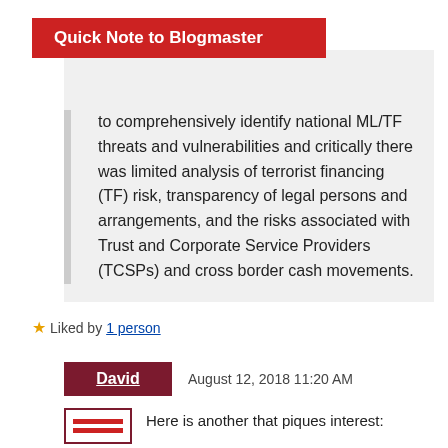Quick Note to Blogmaster
to comprehensively identify national ML/TF threats and vulnerabilities and critically there was limited analysis of terrorist financing (TF) risk, transparency of legal persons and arrangements, and the risks associated with Trust and Corporate Service Providers (TCSPs) and cross border cash movements.
Liked by 1 person
David  August 12, 2018 11:20 AM
Here is another that piques interest: